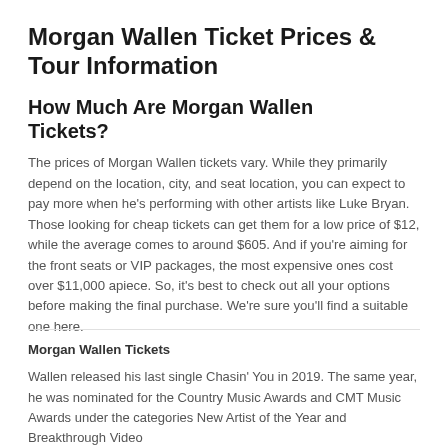Morgan Wallen Ticket Prices & Tour Information
How Much Are Morgan Wallen Tickets?
The prices of Morgan Wallen tickets vary. While they primarily depend on the location, city, and seat location, you can expect to pay more when he's performing with other artists like Luke Bryan. Those looking for cheap tickets can get them for a low price of $12, while the average comes to around $605. And if you're aiming for the front seats or VIP packages, the most expensive ones cost over $11,000 apiece. So, it's best to check out all your options before making the final purchase. We're sure you'll find a suitable one here.
Morgan Wallen Tickets
Wallen released his last single Chasin' You in 2019. The same year, he was nominated for the Country Music Awards and CMT Music Awards under the categories New Artist of the Year and Breakthrough Video